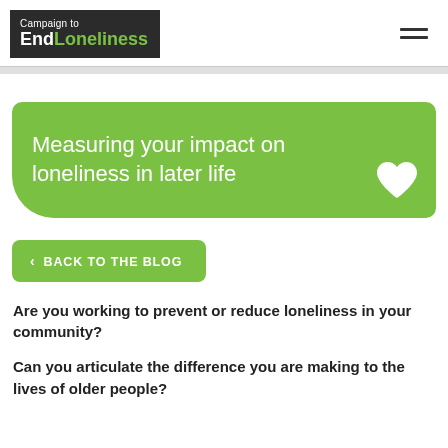[Figure (logo): Campaign to EndLoneliness logo — dark background box with 'Campaign to' in white small text and 'End' in white bold, 'Loneliness' in green bold]
Measuring your impact on loneliness in later life
< BACK TO THE BLOG
Are you working to prevent or reduce loneliness in your community?
Can you articulate the difference you are making to the lives of older people?